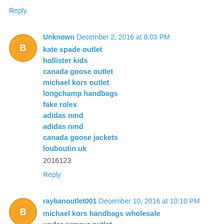Reply
Unknown  December 2, 2016 at 8:03 PM
kate spade outlet
hollister kids
canada goose outlet
michael kors outlet
longchamp handbags
fake rolex
adidas nmd
adidas nmd
canada goose jackets
louboutin uk
2016123
Reply
raybanoutlet001  December 10, 2016 at 10:10 PM
michael kors handbags wholesale
under armour outlet